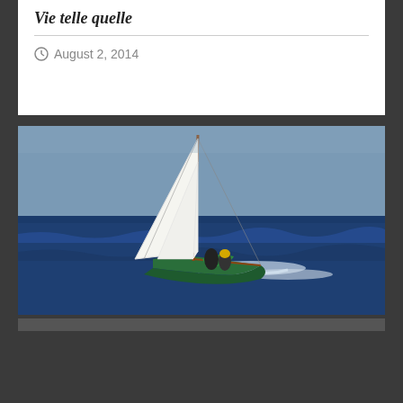Vie telle quelle
August 2, 2014
[Figure (photo): A green sailboat heeling sharply in rough deep blue ocean water with white sails up and crew members visible on deck, sailing in windy conditions.]